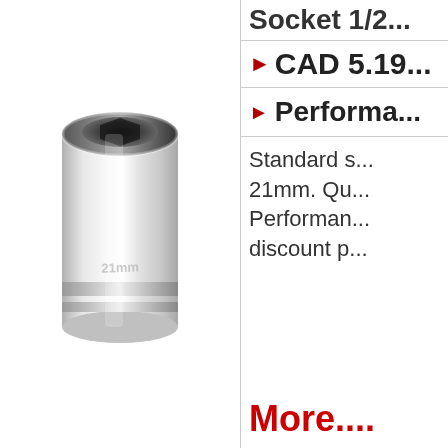[Figure (photo): A chrome hexagonal socket wrench socket, 21mm, viewed from a slight angle, showing the six-point opening at the top and the square drive at the bottom.]
Socket 1/2...
CAD 5.19...
Performa...
Standard s... 21mm. Qu... Performan... discount p...
More....